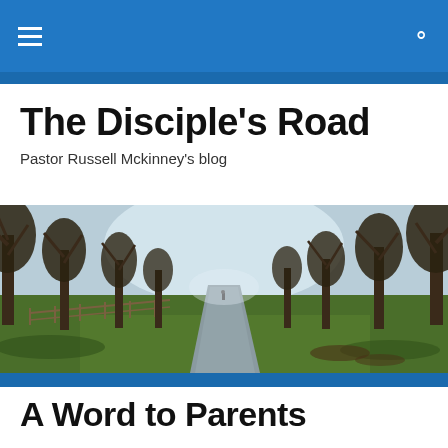The Disciple's Road — navigation bar
The Disciple's Road
Pastor Russell Mckinney's blog
[Figure (photo): A tree-lined road/path stretching into the distance, with bare trees on both sides, a fence on the left, green grass, and a person visible far down the path. Sunlight filters through the trees.]
A Word to Parents
One day a man happened upon the cocoon of a budding butterfly. Realizing what the cocoon was, he became excited at the prospect of getting to watch a beautiful butterfly ultimately emerge from it. And, sure enough, he